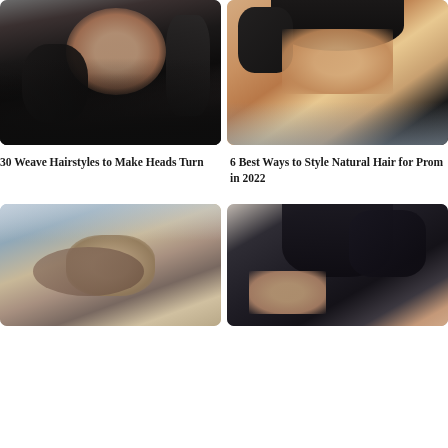[Figure (photo): Woman with long flowing black wavy hair, side profile view]
[Figure (photo): Woman with short natural hair styled in finger waves/curls, close-up portrait]
30 Weave Hairstyles to Make Heads Turn
6 Best Ways to Style Natural Hair for Prom in 2022
[Figure (photo): Woman with brown updo braided hairstyle, back view]
[Figure (photo): Woman with long box braids in a high ponytail, decorated with curly ends]